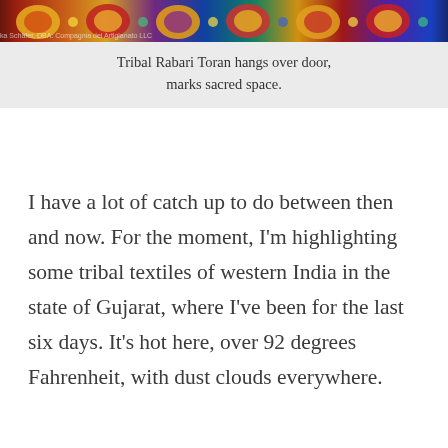[Figure (photo): Top portion of a colorful Tribal Rabari Toran textile with vibrant reds, yellows, purples and blues, partially visible at top of page]
Tribal Rabari Toran hangs over door, marks sacred space.
I have a lot of catch up to do between then and now. For the moment, I'm highlighting some tribal textiles of western India in the state of Gujarat, where I've been for the last six days. It's hot here, over 92 degrees Fahrenheit, with dust clouds everywhere.
[Figure (photo): Person working at a wooden loom, weaving textiles, partially visible at bottom of page]